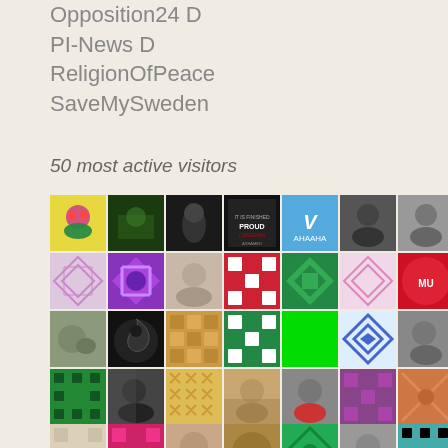Opposition24 D
PI-News D
ReligionOfPeace
SaveMySweden
50 most active visitors
[Figure (photo): Grid of 35+ small avatar images showing various user profile pictures and pattern avatars]